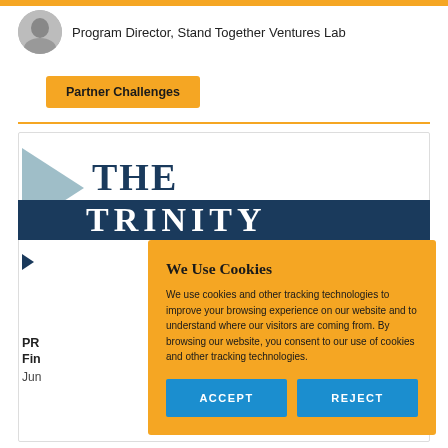Program Director, Stand Together Ventures Lab
Partner Challenges
THE
[Figure (screenshot): Partially visible large bold serif text on dark navy background, appears to be a publication or newsletter title]
PR...
Fin...
Jun...
We Use Cookies
We use cookies and other tracking technologies to improve your browsing experience on our website and to understand where our visitors are coming from. By browsing our website, you consent to our use of cookies and other tracking technologies.
ACCEPT
REJECT